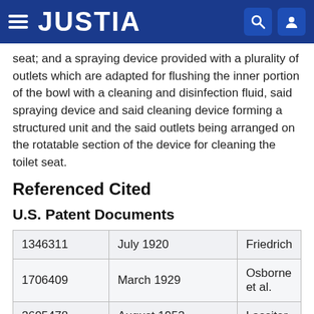JUSTIA
seat; and a spraying device provided with a plurality of outlets which are adapted for flushing the inner portion of the bowl with a cleaning and disinfection fluid, said spraying device and said cleaning device forming a structured unit and the said outlets being arranged on the rotatable section of the device for cleaning the toilet seat.
Referenced Cited
U.S. Patent Documents
| Patent Number | Date | Inventor |
| --- | --- | --- |
| 1346311 | July 1920 | Friedrich |
| 1706409 | March 1929 | Osborne et al. |
| 2605478 | August 1952 | Lassiter |
| ... | ... | ... |